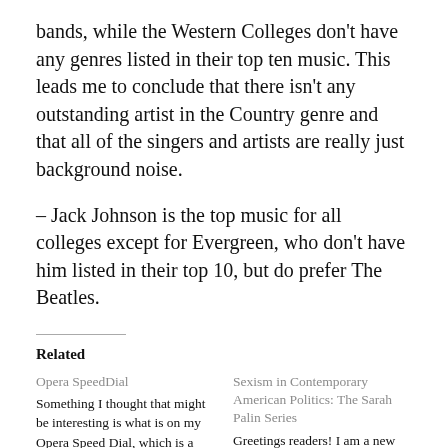bands, while the Western Colleges don't have any genres listed in their top ten music. This leads me to conclude that there isn't any outstanding artist in the Country genre and that all of the singers and artists are really just background noise.
– Jack Johnson is the top music for all colleges except for Evergreen, who don't have him listed in their top 10, but do prefer The Beatles.
Related
Opera SpeedDial
Something I thought that might be interesting is what is on my Opera Speed Dial, which is a
Sexism in Contemporary American Politics: The Sarah Palin Series
Greetings readers! I am a new author to the site